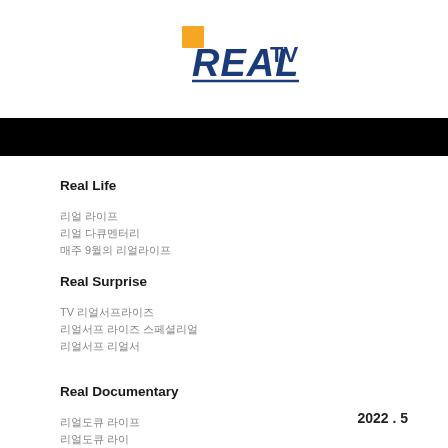[Figure (logo): REAL TV logo with orange square accent and blue italic text]
Real Life
리얼 라이프
리얼 다큐멘터리
매주 9월의 리얼라이프
Real Surprise
TV 리얼서프라이즈
리얼서프 라이즈 스페셜리얼
리얼서프 리얼서
Real Documentary
리얼도큐 라이프
리얼도큐 라이
2022 . 5